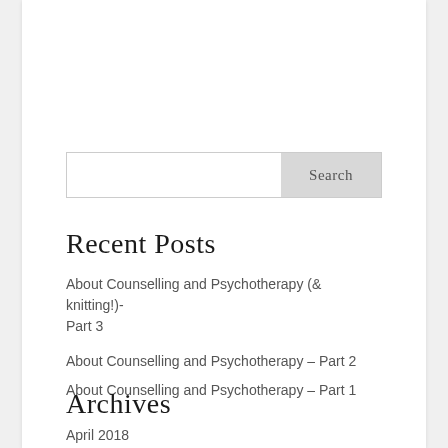[Figure (other): Search input box with Search button]
Recent Posts
About Counselling and Psychotherapy (& knitting!)- Part 3
About Counselling and Psychotherapy – Part 2
About Counselling and Psychotherapy – Part 1
Archives
April 2018